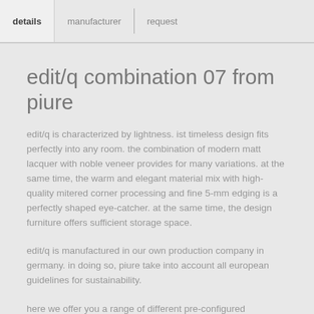details | manufacturer | request
edit/q combination 07 from piure
edit/q is characterized by lightness. ist timeless design fits perfectly into any room. the combination of modern matt lacquer with noble veneer provides for many variations. at the same time, the warm and elegant material mix with high-quality mitered corner processing and fine 5-mm edging is a perfectly shaped eye-catcher. at the same time, the design furniture offers sufficient storage space.
edit/q is manufactured in our own production company in germany. in doing so, piure take into account all european guidelines for sustainability.
here we offer you a range of different pre-configured sideboard models. however, you can also put together your edit/q sideboard